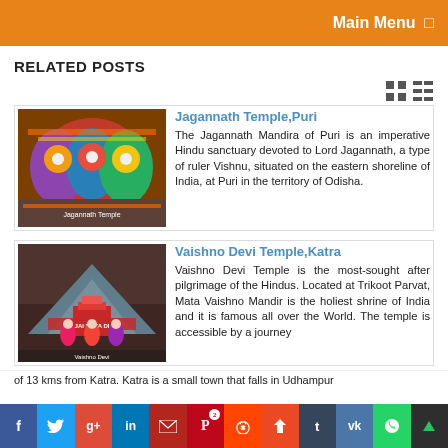Main Menu
RELATED POSTS
[Figure (screenshot): Jagannath Temple Puri - colorful deity figures adorned with flowers and ornaments]
Jagannath Temple,Puri
The Jagannath Mandira of Puri is an imperative Hindu sanctuary devoted to Lord Jagannath, a type of ruler Vishnu, situated on the eastern shoreline of India, at Puri in the territory of Odisha.
[Figure (screenshot): Vaishno Devi Temple Katra - devotees and temple structure in mountainous setting]
Vaishno Devi Temple,Katra
Vaishno Devi Temple is the most-sought after pilgrimage of the Hindus. Located at Trikoot Parvat, Mata Vaishno Mandir is the holiest shrine of India and it is famous all over the World. The temple is accessible by a journey of 13 kms from Katra. Katra is a small town that falls in Udhampur
f  t  g+  in  mail  p2  reddit  stumble  t  vk  whatsapp